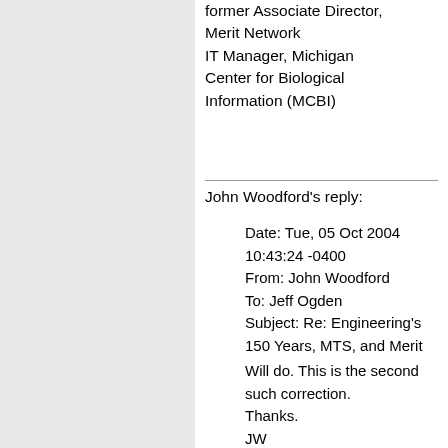former Associate Director, Merit Network
IT Manager, Michigan Center for Biological Information (MCBI)
John Woodford's reply:
Date: Tue, 05 Oct 2004 10:43:24 -0400
From: John Woodford
To: Jeff Ogden
Subject: Re: Engineering's 150 Years, MTS, and Merit

Will do. This is the second such correction.
Thanks.
JW
Correction from Bert Herzog
posted Oct 7, 2014, 5:43 AM by Jeff Ogden  [ updated Jun 27, 2020, 11:17 AM ]
The following letter from Bert